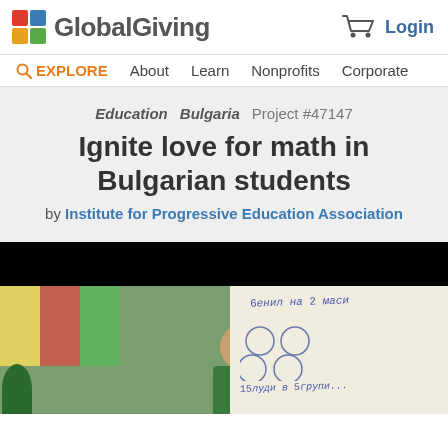GlobalGiving — Login
EXPLORE   About   Learn   Nonprofits   Corporate
Education   Bulgaria   Project #47147
Ignite love for math in Bulgarian students
by Institute for Progressive Education Association
[Figure (photo): Screenshot of GlobalGiving project page showing a child at a whiteboard with math problems written in Bulgarian]